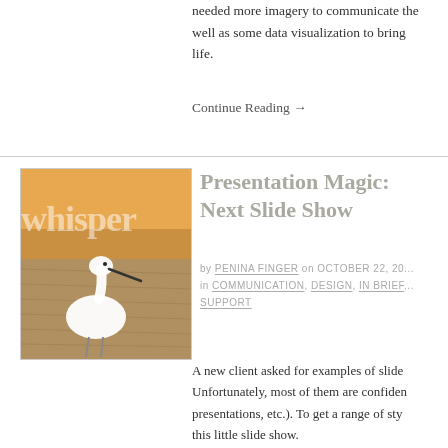needed more imagery to communicate the story, as well as some data visualization to bring the data to life.
Continue Reading →
[Figure (photo): Photo of a white egret bird on sandy beach at sunset, with the word 'whisper' overlaid in light text]
Presentation Magic: Next Slide Show
by PENINA FINGER on OCTOBER 22, 20... in COMMUNICATION, DESIGN, IN BRIEF... SUPPORT
A new client asked for examples of slide shows. Unfortunately, most of them are confidential (presentations, etc.). To get a range of styles, I made this little slide show.
In addition to showcasing my work, I ho...